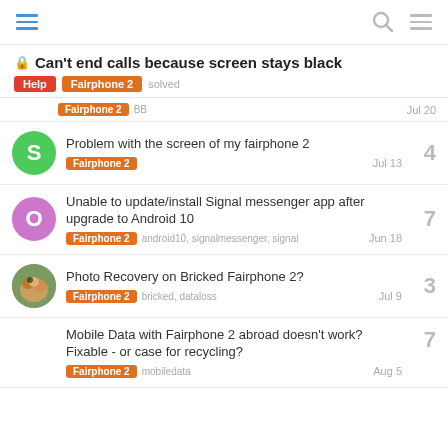Navigation header with hamburger menu, search icon, and menu icon
Can't end calls because screen stays black
Help | Fairphone 2 | solved
Fairphone 2  BB  Jul 20
Problem with the screen of my fairphone 2 — Fairphone 2 — Jul 13 — 4 replies
Unable to update/install Signal messenger app after upgrade to Android 10 — Fairphone 2, android10, signalmessenger, signal — Jun 18 — 7 replies
Photo Recovery on Bricked Fairphone 2? — Fairphone 2, bricked, dataloss — Jul 9 — 3 replies
Mobile Data with Fairphone 2 abroad doesn't work? Fixable - or case for recycling? — Fairphone 2, mobiledata — Aug 5 — 7 replies